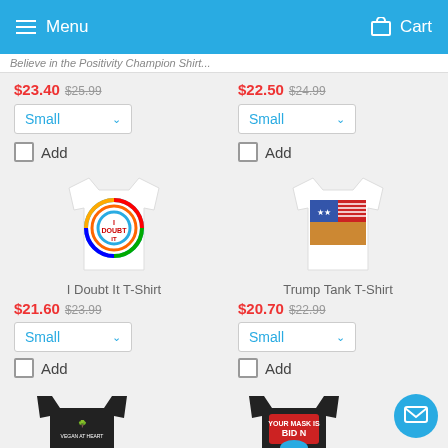Menu  Cart
...Believe in the Positivity Champion Shirt...
$23.40  $25.99
Small  ∨
Add
$22.50  $24.99
Small  ∨
Add
[Figure (photo): White t-shirt with colorful circular graphic - I Doubt It T-Shirt]
[Figure (photo): White t-shirt with patriotic graphic - Trump Tank T-Shirt]
I Doubt It T-Shirt
Trump Tank T-Shirt
$21.60  $23.99
Small  ∨
Add
$20.70  $22.99
Small  ∨
Add
[Figure (photo): Black t-shirt partial view at bottom]
[Figure (photo): Black t-shirt with Biden graphic partial view at bottom]